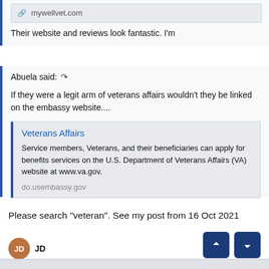mywellvet.com
Their website and reviews look fantastic. I'm
Abuela said: ↩
If they were a legit arm of veterans affairs wouldn't they be linked on the embassy website....
Veterans Affairs
Service members, Veterans, and their beneficiaries can apply for benefits services on the U.S. Department of Veterans Affairs (VA) website at www.va.gov.
do.usembassy.gov
Please search "veteran". See my post from 16 Oct 2021